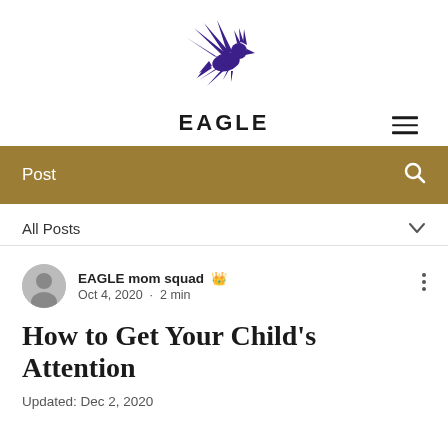[Figure (logo): Purple flying eagle logo/mascot silhouette]
EAGLE
Post
All Posts
EAGLE mom squad · Oct 4, 2020 · 2 min
How to Get Your Child's Attention
Updated: Dec 2, 2020